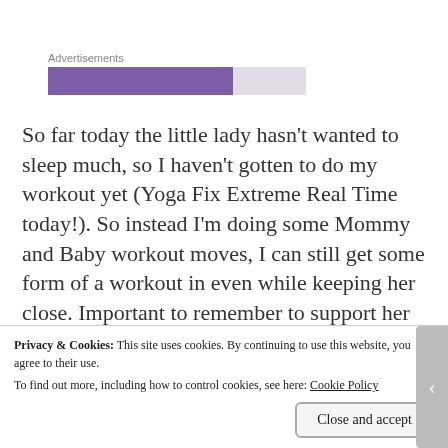[Figure (other): Advertisements label with a purple progress/ad bar and a gray bar segment beside it]
So far today the little lady hasn't wanted to sleep much, so I haven't gotten to do my workout yet (Yoga Fix Extreme Real Time today!). So instead I'm doing some Mommy and Baby workout moves, I can still get some form of a workout in even while keeping her close. Important to remember to support her head and keep your balance, but there are a lot of great moves to work your body that
Privacy & Cookies: This site uses cookies. By continuing to use this website, you agree to their use.
To find out more, including how to control cookies, see here: Cookie Policy
Close and accept